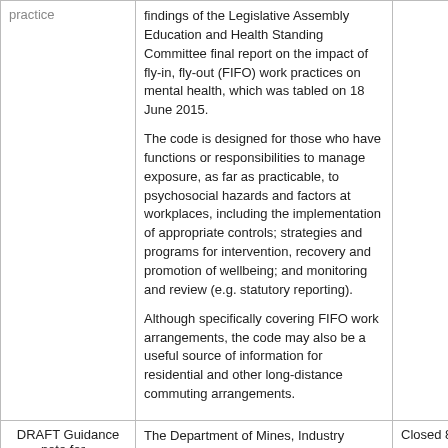|  |  |  |
| --- | --- | --- |
| practice | findings of the Legislative Assembly Education and Health Standing Committee
final report on the impact of fly-in, fly-out (FIFO) work practices on mental health, which was tabled on 18 June 2015.

The code is designed for those who have functions or responsibilities to manage exposure, as far as practicable, to psychosocial hazards and factors at workplaces, including the implementation of appropriate controls; strategies and programs for intervention, recovery and promotion of wellbeing; and monitoring and review (e.g. statutory reporting).

Although specifically covering FIFO work arrangements, the code may also be a useful source of information for residential and other long-distance commuting arrangements. |  |
| DRAFT Guidance note for... | The Department of Mines, Industry Regulation and Safety (DMIRS) sought comments on a draft guidance note for... | Closed 8 Fe... |